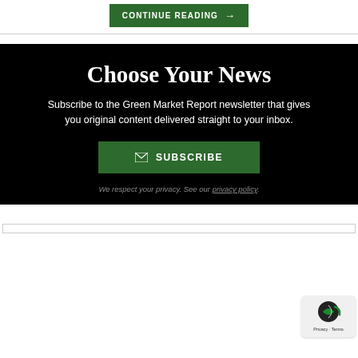CONTINUE READING →
Choose Your News
Subscribe to the Green Market Report newsletter that gives you original content delivered straight to your inbox.
✉ SUBSCRIBE
We respect your privacy. See our privacy policy.